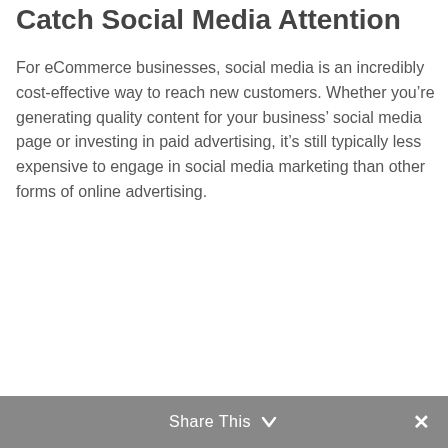Catch Social Media Attention
For eCommerce businesses, social media is an incredibly cost-effective way to reach new customers. Whether you’re generating quality content for your business’ social media page or investing in paid advertising, it’s still typically less expensive to engage in social media marketing than other forms of online advertising.
Share This ✕